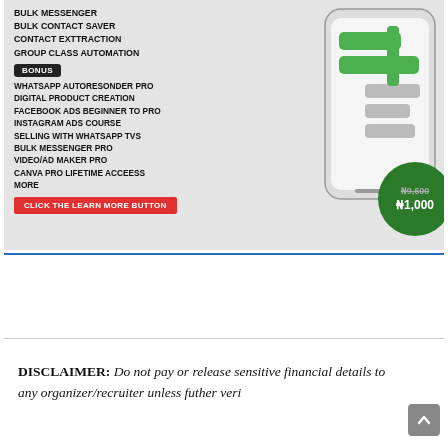[Figure (infographic): Advertisement banner with grey background showing a smartphone with green messenger-style UI elements on the right, and on the left a list of features: BULK MESSENGER, BULK CONTACT SAVER, CONTACT EXTTRACTION, GROUP CLASS AUTOMATION, BONUS badge, WHATSAPP AUTORESONDER PRO, DIGITAL PRODUCT CREATION, FACEBOOK ADS BEGINNER TO PRO, INSTAGRAM ADS COURSE, SELLING WITH WHATSAPP TVS, BULK MESSENGER PRO, VIDEO/AD MAKER PRO, CANVA PRO LIFETIME ACCEESS, MORE. A red button says CLICK THE LEARN MORE BUTTON. A dark green circle shows crossed-out price N9,600 and sale price N1,000.]
DISCLAIMER: Do not pay or release sensitive financial details to any organizer/recruiter unless futher veri...